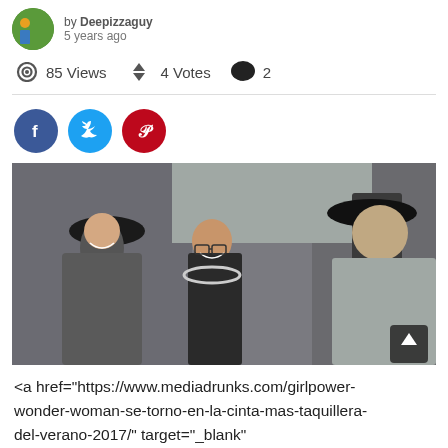by Deepizzaguy
5 years ago
85 Views   4 Votes   2
[Figure (photo): Three people in period costumes and modern clothing conversing in front of a stone brick wall. One woman wears a dark wide-brim hat and vintage outfit, another woman in modern black jacket with headphones around her neck, and a man on the right in a grey coat and black hat.]
<a href="https://www.mediadrunks.com/girlpower-wonder-woman-se-torno-en-la-cinta-mas-taquillera-del-verano-2017/" target="_blank"